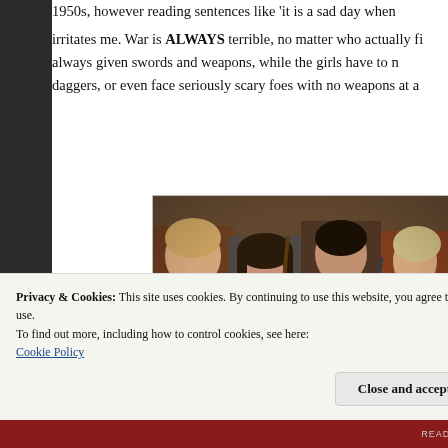1950s, however reading sentences like 'it is a sad day when irritates me. War is ALWAYS terrible, no matter who actually fig always given swords and weapons, while the girls have to n daggers, or even face seriously scary foes with no weapons at a
[Figure (photo): Four young people in medieval fantasy costumes, appearing to be characters from The Chronicles of Narnia film. They are dressed in armor and period clothing and carrying weapons.]
Privacy & Cookies: This site uses cookies. By continuing to use this website, you agree to their use.
To find out more, including how to control cookies, see here:
Cookie Policy